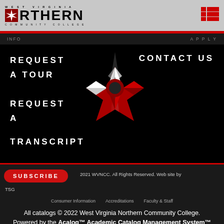[Figure (logo): West Virginia Northern Community College logo with compass rose icon]
[Figure (illustration): Hamburger menu icon (red horizontal lines) top right]
INFO
APPLY
REQUEST A TOUR
[Figure (illustration): Large red and white compass rose / star logo centered in black menu area]
CONTACT US
REQUEST A
TRANSCRIPT
SUBSCRIBE
2021 WVNCC. All Rights Reserved. Web site by TSG
Consumer Information   Accreditations   Faculty & Staff
All catalogs © 2022 West Virginia Northern Community College. Powered by the Acalog™ Academic Catalog Management System™ (ACMS™).